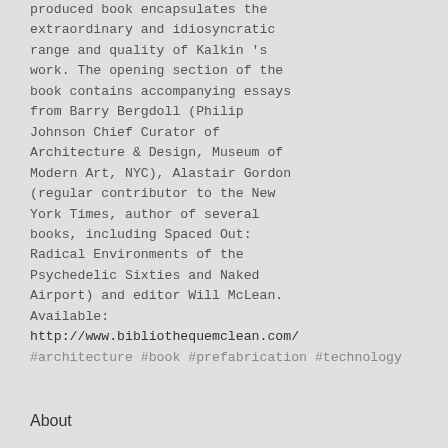produced book encapsulates the extraordinary and idiosyncratic range and quality of Kalkin 's work. The opening section of the book contains accompanying essays from Barry Bergdoll (Philip Johnson Chief Curator of Architecture & Design, Museum of Modern Art, NYC), Alastair Gordon (regular contributor to the New York Times, author of several books, including Spaced Out: Radical Environments of the Psychedelic Sixties and Naked Airport) and editor Will McLean. Available: http://www.bibliothequemclean.com/
#architecture #book #prefabrication #technology
About